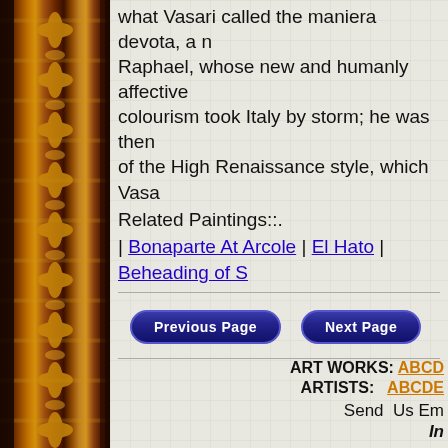[Figure (illustration): Decorative ornate picture frame border on the left side, dark red and gold tones with floral/leaf ornamental patterns]
what Vasari called the maniera devota, a n Raphael, whose new and humanly affective colourism took Italy by storm; he was then of the High Renaissance style, which Vasa Michelangelo and the mature works of Rap disappeared until the reassessment of his r The Story of Nastagio degli Onesti mk61 1483 Detail
Related Paintings::.
| Bonaparte At Arcole | El Hato | Beheading of S
[Figure (screenshot): Previous Page and Next Page navigation buttons, dark blue pill-shaped buttons with white bold text]
ART WORKS: ABCD
ARTISTS:   ABCDE
Send  Us Em
In